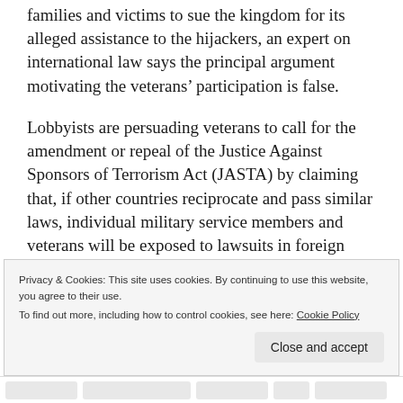families and victims to sue the kingdom for its alleged assistance to the hijackers, an expert on international law says the principal argument motivating the veterans' participation is false.
Lobbyists are persuading veterans to call for the amendment or repeal of the Justice Against Sponsors of Terrorism Act (JASTA) by claiming that, if other countries reciprocate and pass similar laws, individual military service members and veterans will be exposed to lawsuits in foreign courts. Continue reading
Privacy & Cookies: This site uses cookies. By continuing to use this website, you agree to their use.
To find out more, including how to control cookies, see here: Cookie Policy